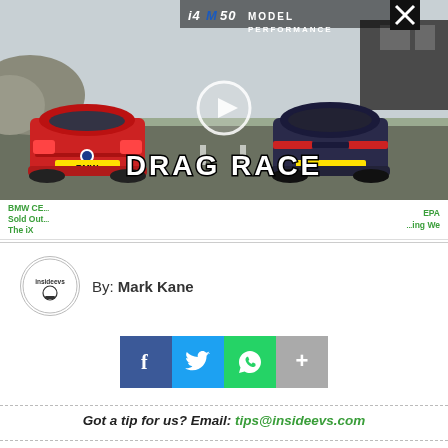[Figure (screenshot): BMW i4 M50 vs Tesla drag race video thumbnail showing rear views of red BMW and dark Tesla on a track with DRAG RACE text overlay, play button, and model performance branding at top]
BMW CE... Sold Out... The iX    EPA ...ing We
By: Mark Kane
[Figure (infographic): Social share buttons: Facebook (blue f), Twitter (bird), WhatsApp (phone), and More (+) buttons]
Got a tip for us? Email: tips@insideevs.com